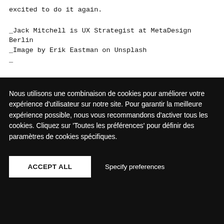excited to do it again.
_Jack Mitchell is UX Strategist at MetaDesign Berlin
_Image by Erik Eastman on Unsplash
_
Nous utilisons une combinaison de cookies pour améliorer votre expérience d'utilisateur sur notre site. Pour garantir la meilleure expérience possible, nous vous recommandons d'activer tous les cookies. Cliquez sur 'Toutes les préférences' pour définir des paramètres de cookies spécifiques.
ACCEPT ALL
Specify preferences